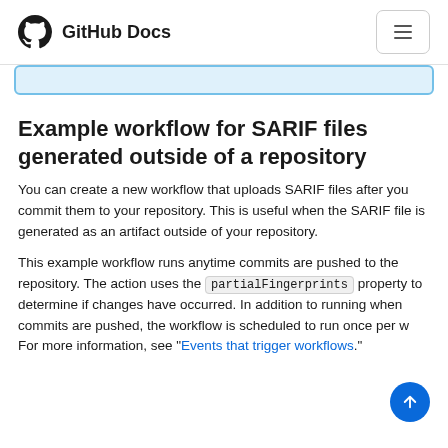GitHub Docs
Example workflow for SARIF files generated outside of a repository
You can create a new workflow that uploads SARIF files after you commit them to your repository. This is useful when the SARIF file is generated as an artifact outside of your repository.
This example workflow runs anytime commits are pushed to the repository. The action uses the partialFingerprints property to determine if changes have occurred. In addition to running when commits are pushed, the workflow is scheduled to run once per week. For more information, see "Events that trigger workflows".